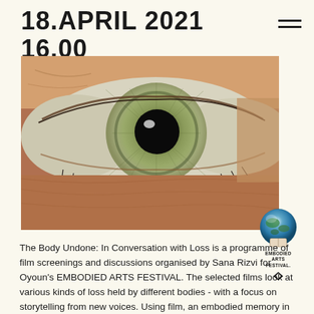18.APRIL 2021 16.00
[Figure (photo): Extreme close-up macro photograph of a human eye showing detailed iris texture with green-grey coloring, prominent pupil, and lower eyelid with eyelashes and skin detail]
[Figure (logo): Embodied Arts Festival logo: circular globe-like image above text reading EMBODIED ARTS FESTIVAL with a small black icon below]
The Body Undone: In Conversation with Loss is a programme of film screenings and discussions organised by Sana Rizvi for Oyoun's EMBODIED ARTS FESTIVAL. The selected films look at various kinds of loss held by different bodies - with a focus on storytelling from new voices. Using film, an embodied memory in itself, an